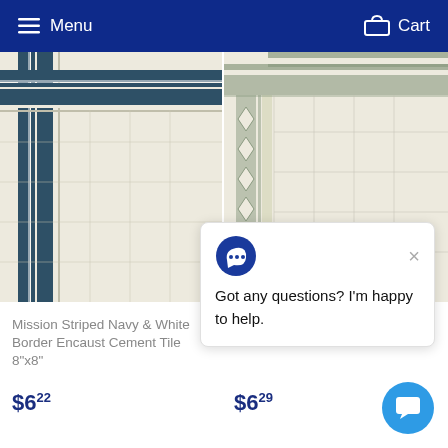Menu   Cart
[Figure (photo): Mission Striped Navy & White Border Encaust cement tile corner detail showing navy and cream stripes at 90-degree angle]
Mission Striped Navy & White Border Encaust Cement Tile 8"x8"
$6.22
[Figure (photo): Mission Santiago Border tile corner detail showing geometric diamond/cross pattern border in gray and cream]
Mission Santiago Border
$6.29
Got any questions? I'm happy to help.